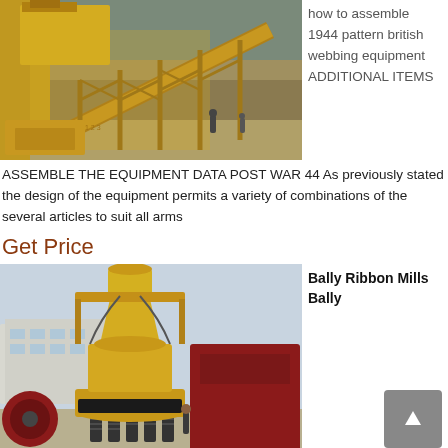[Figure (photo): Yellow industrial mining/crushing equipment with conveyor belts and steel frame structure, set against rocky hillside background with workers visible]
how to assemble 1944 pattern british webbing equipment ADDITIONAL ITEMS
ASSEMBLE THE EQUIPMENT DATA POST WAR 44 As previously stated the design of the equipment permits a variety of combinations of the several articles to suit all arms
Get Price
[Figure (photo): Large yellow cone crusher industrial mining machine on outdoor ground, with buildings and trucks visible in background]
Bally Ribbon Mills Bally